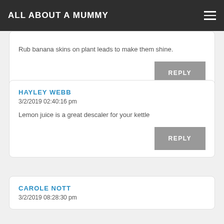ALL ABOUT A MUMMY
Rub banana skins on plant leads to make them shine.
HAYLEY WEBB
3/2/2019 02:40:16 pm
Lemon juice is a great descaler for your kettle
CAROLE NOTT
3/2/2019 08:28:30 pm